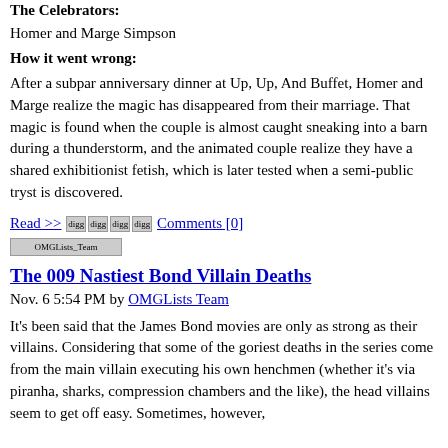The Celebrators:
Homer and Marge Simpson
How it went wrong:
After a subpar anniversary dinner at Up, Up, And Buffet, Homer and Marge realize the magic has disappeared from their marriage. That magic is found when the couple is almost caught sneaking into a barn during a thunderstorm, and the animated couple realize they have a shared exhibitionist fetish, which is later tested when a semi-public tryst is discovered.
Read >> [digg] [digg] [digg] [digg] Comments [0] [OMGLists Team]
The 009 Nastiest Bond Villain Deaths
Nov. 6 5:54 PM by OMGLists Team
It's been said that the James Bond movies are only as strong as their villains. Considering that some of the goriest deaths in the series come from the main villain executing his own henchmen (whether it's via piranha, sharks, compression chambers and the like), the head villains seem to get off easy. Sometimes, however,